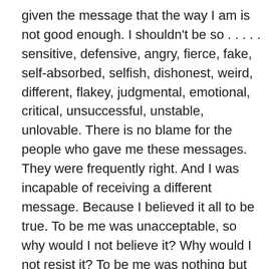given the message that the way I am is not good enough. I shouldn't be so . . . . . sensitive, defensive, angry, fierce, fake, self-absorbed, selfish, dishonest, weird, different, flakey, judgmental, emotional, critical, unsuccessful, unstable, unlovable. There is no blame for the people who gave me these messages. They were frequently right. And I was incapable of receiving a different message. Because I believed it all to be true. To be me was unacceptable, so why would I not believe it? Why would I not resist it? To be me was nothing but pain and grief and heartache.

Over the years as I swam in the dark waters of the psyche, deeper and deeper, as deep as I could go, and released all the painful feelings lurking there, things slowly began to clear. I developed a complete lack of fear of the so-called negative emotions. Anger, shame, guilt, pain, all